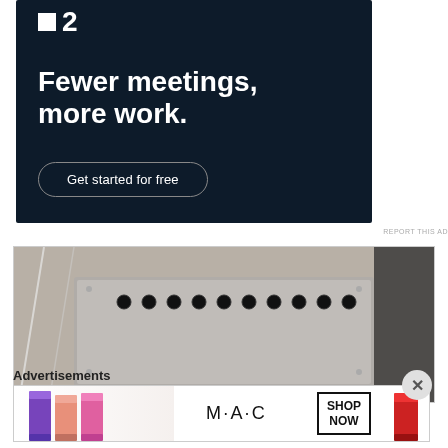[Figure (screenshot): Dark navy advertisement banner with white logo showing a square icon and '2', large bold white text reading 'Fewer meetings, more work.' and a rounded pill button 'Get started for free']
REPORT THIS AD
[Figure (photo): Photograph of a gray electronic device with multiple black knobs/buttons on top, resembling a control box or resistor box, on a light background]
Advertisements
[Figure (screenshot): MAC cosmetics advertisement banner showing colorful lipsticks on left, MAC logo in center, and 'SHOP NOW' button in a box on right with a red lipstick on far right]